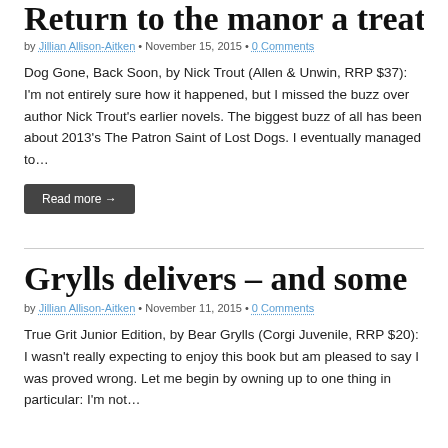Return to the manor a treat
by Jillian Allison-Aitken • November 15, 2015 • 0 Comments
Dog Gone, Back Soon, by Nick Trout (Allen & Unwin, RRP $37): I'm not entirely sure how it happened, but I missed the buzz over author Nick Trout's earlier novels. The biggest buzz of all has been about 2013's The Patron Saint of Lost Dogs. I eventually managed to…
Read more →
Grylls delivers – and some
by Jillian Allison-Aitken • November 11, 2015 • 0 Comments
True Grit Junior Edition, by Bear Grylls (Corgi Juvenile, RRP $20): I wasn't really expecting to enjoy this book but am pleased to say I was proved wrong. Let me begin by owning up to one thing in particular: I'm not…